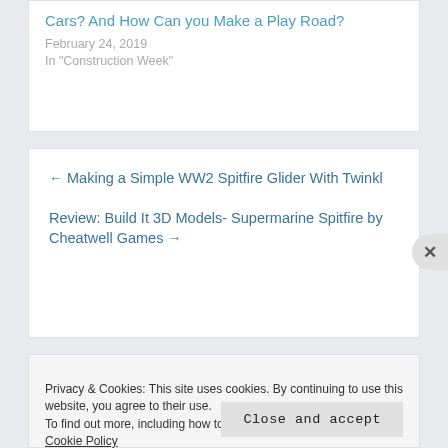Cars? And How Can you Make a Play Road?
February 24, 2019
In "Construction Week"
← Making a Simple WW2 Spitfire Glider With Twinkl
Review: Build It 3D Models- Supermarine Spitfire by Cheatwell Games →
Privacy & Cookies: This site uses cookies. By continuing to use this website, you agree to their use.
To find out more, including how to control cookies, see here: Cookie Policy
Close and accept